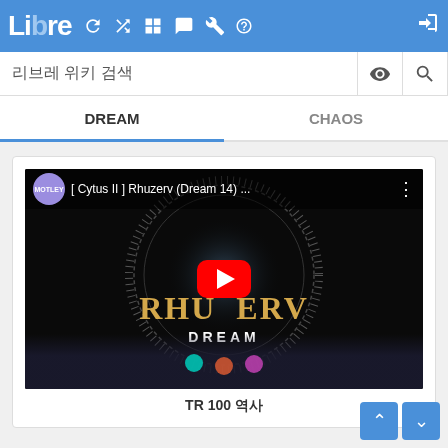Libre Wiki navigation bar with logo and search
리브레 위키 검색
DREAM | CHAOS
[Figure (screenshot): YouTube video thumbnail for [ Cytus II ] Rhuzerv (Dream 14) showing RHUZERV text and DREAM label on dark background with circular HUD overlay and YouTube play button]
TR 100 역사